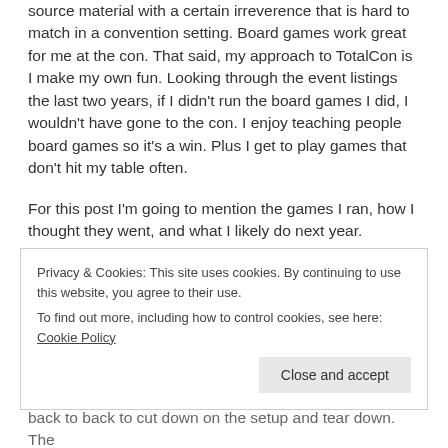source material with a certain irreverence that is hard to match in a convention setting. Board games work great for me at the con. That said, my approach to TotalCon is I make my own fun. Looking through the event listings the last two years, if I didn't run the board games I did, I wouldn't have gone to the con. I enjoy teaching people board games so it's a win. Plus I get to play games that don't hit my table often.
For this post I'm going to mention the games I ran, how I thought they went, and what I likely do next year.
Arkham Horror – Thursday 1pm and 8 am Friday:
Arkham is one of my favorite games and a game my
Privacy & Cookies: This site uses cookies. By continuing to use this website, you agree to their use.
To find out more, including how to control cookies, see here: Cookie Policy
back to back to cut down on the setup and tear down. The